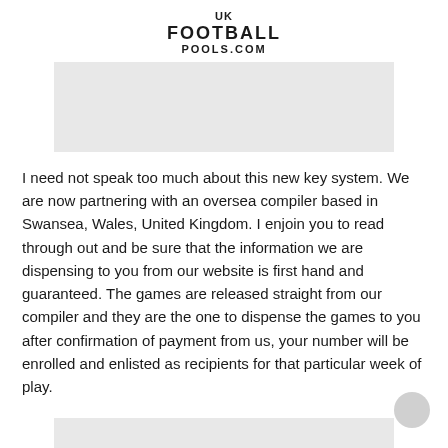UK FOOTBALL POOLS.COM
[Figure (other): Gray banner/image placeholder below logo]
I need not speak too much about this new key system. We are now partnering with an oversea compiler based in Swansea, Wales, United Kingdom. I enjoin you to read through out and be sure that the information we are dispensing to you from our website is first hand and guaranteed. The games are released straight from our compiler and they are the one to dispense the games to you after confirmation of payment from us, your number will be enrolled and enlisted as recipients for that particular week of play.
[Figure (other): Gray banner/image placeholder at bottom]